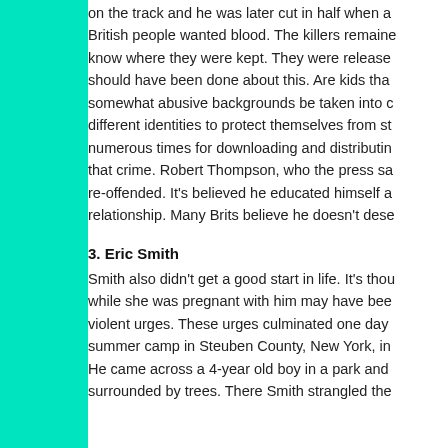on the track and he was later cut in half when a British people wanted blood. The killers remaine know where they were kept. They were release should have been done about this. Are kids tha somewhat abusive backgrounds be taken into c different identities to protect themselves from st numerous times for downloading and distributin that crime. Robert Thompson, who the press sa re-offended. It's believed he educated himself a relationship. Many Brits believe he doesn't dese
3. Eric Smith
Smith also didn't get a good start in life. It's thou while she was pregnant with him may have bee violent urges. These urges culminated one day summer camp in Steuben County, New York, in He came across a 4-year old boy in a park and surrounded by trees. There Smith strangled the